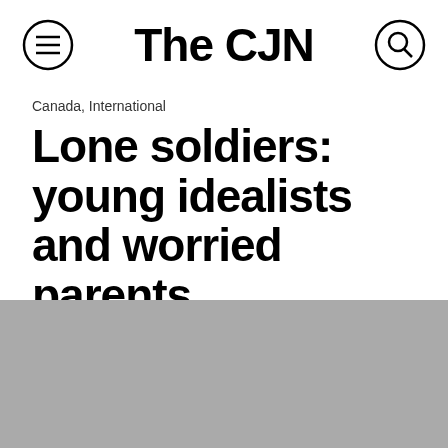The CJN
Canada, International
Lone soldiers: young idealists and worried parents
July 29, 2014   By Ron Csillag
[Figure (photo): Gray placeholder image block at the bottom of the page]